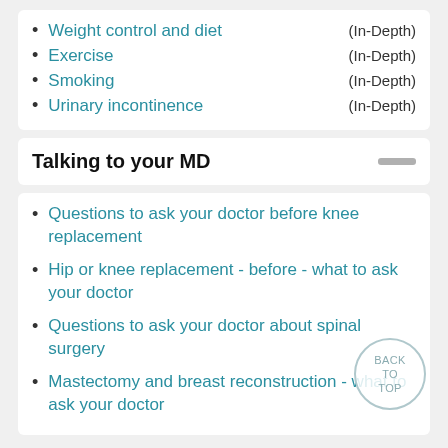Weight control and diet (In-Depth)
Exercise (In-Depth)
Smoking (In-Depth)
Urinary incontinence (In-Depth)
Talking to your MD
Questions to ask your doctor before knee replacement
Hip or knee replacement - before - what to ask your doctor
Questions to ask your doctor about spinal surgery
Mastectomy and breast reconstruction - what to ask your doctor